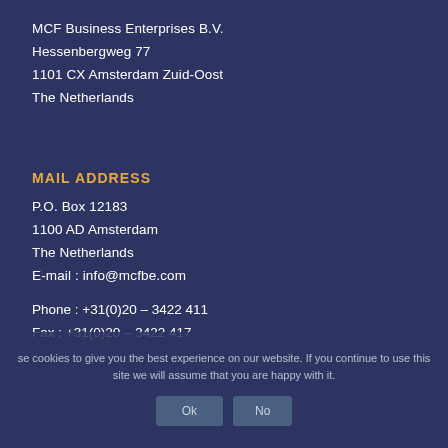MCF Business Enterprises B.V.
Hessenbergweg 77
1101 CX Amsterdam Zuid-Oost
The Netherlands
MAIL ADDRESS
P.O. Box 12183
1100 AD Amsterdam
The Netherlands
E-mail : info@mcfbe.com
Phone : +31(0)20 – 3422 411
Fax : +31(0)20 – 3422 417
se cookies to give you the best experience on our website. If you continue to use this site we will assume that you are happy with it.
Ok   No